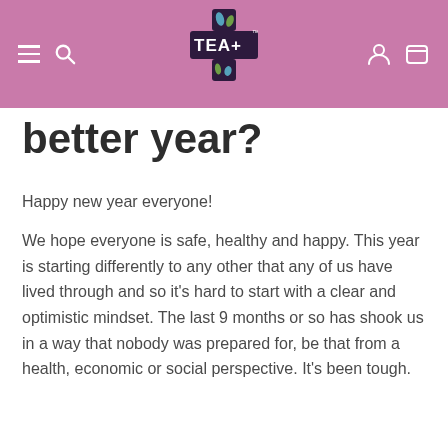TEA+
better year?
Happy new year everyone!
We hope everyone is safe, healthy and happy. This year is starting differently to any other that any of us have lived through and so it's hard to start with a clear and optimistic mindset. The last 9 months or so has shook us in a way that nobody was prepared for, be that from a health, economic or social perspective. It's been tough.